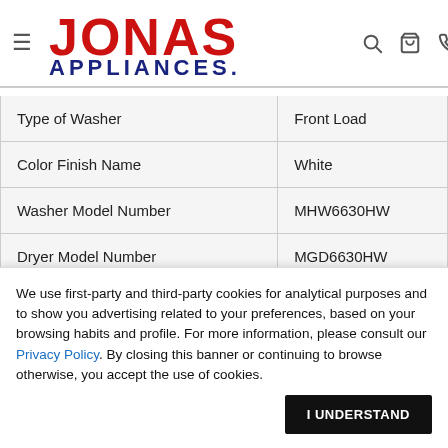[Figure (logo): Jonas Appliances logo with hamburger menu icon and search, cart, phone icons]
| Type of Washer | Front Load |
| Color Finish Name | White |
| Washer Model Number | MHW6630HW |
| Dryer Model Number | MGD6630HW |
We use first-party and third-party cookies for analytical purposes and to show you advertising related to your preferences, based on your browsing habits and profile. For more information, please consult our Privacy Policy. By closing this banner or continuing to browse otherwise, you accept the use of cookies.
I UNDERSTAND